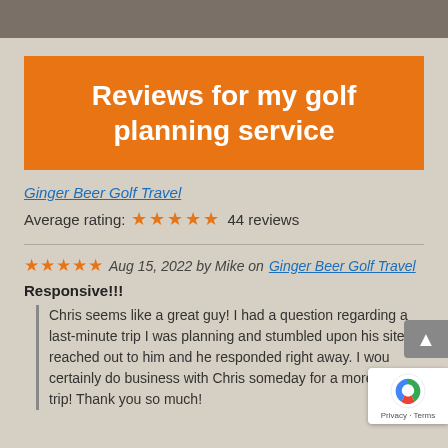Reviews for my golf planning service
Ginger Beer Golf Travel
Average rating:  ★★★★★  44 reviews
★★★★★  Aug 15, 2022 by Mike on Ginger Beer Golf Travel
Responsive!!!
Chris seems like a great guy! I had a question regarding a last-minute trip I was planning and stumbled upon his site. I reached out to him and he responded right away. I would certainly do business with Chris someday for a more planned out trip! Thank you so much!